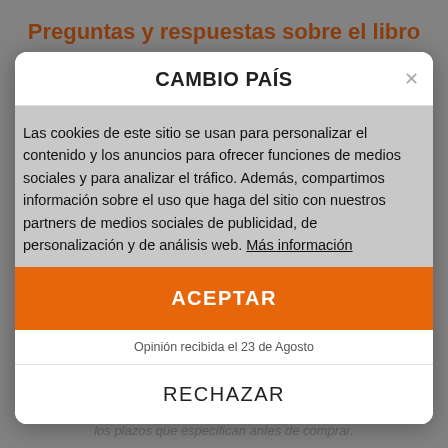Preguntas y respuestas sobre el libro
CAMBIO PAÍS
Las cookies de este sitio se usan para personalizar el contenido y los anuncios para ofrecer funciones de medios sociales y para analizar el tráfico. Además, compartimos información sobre el uso que haga del sitio con nuestros partners de medios sociales de publicidad, de personalización y de análisis web. Más información
ACEPTAR
Opinión recibida el 23 de Agosto
RECHAZAR
plazos que especifican antes de comprar.